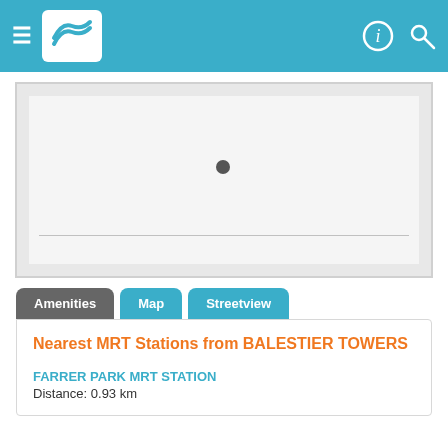Navigation bar with menu, logo, info and search icons
[Figure (map): A blank/loading map area with a location dot marker and a horizontal line, within a light gray bordered container]
Amenities | Map | Streetview (tab navigation)
Nearest MRT Stations from BALESTIER TOWERS
FARRER PARK MRT STATION
Distance: 0.93 km